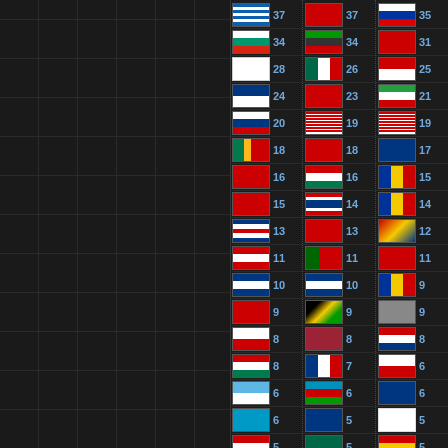[Figure (infographic): Country flag ranking table with three columns, each showing a flag icon followed by a numeric score in blue. Dark background. Values range from 37 down to 2. Left panel is dark with grid lines.]